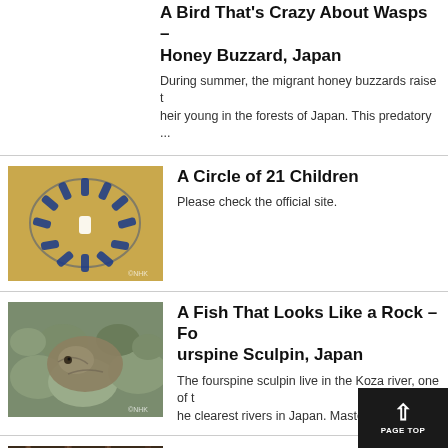A Bird That's Crazy About Wasps – Honey Buzzard, Japan
During summer, the migrant honey buzzards raise their young in the forests of Japan. This predatory ...
[Figure (photo): Children lying on floor in a circle formation wearing blue uniforms]
A Circle of 21 Children
Please check the official site.
[Figure (photo): A fish camouflaged among river rocks, resembling a rock]
A Fish That Looks Like a Rock – Fourspine Sculpin, Japan
The fourspine sculpin live in the Koza river, one of the clearest rivers in Japan. Master of disguis...
[Figure (photo): Mangrove roots in water, archerfish habitat]
A Fish That Shoots – Archerfish, Palau
Discover the world of the ultimate underwater, the archerfish.Squirting water with th...